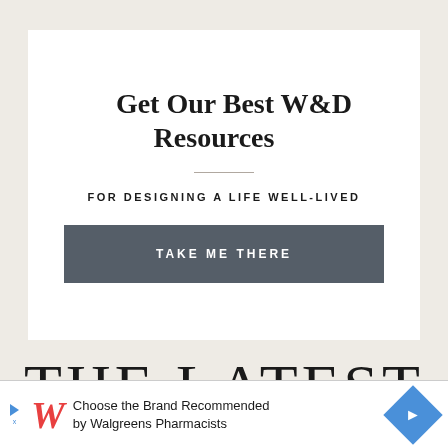Get Our Best W&D Resources
FOR DESIGNING A LIFE WELL-LIVED
TAKE ME THERE
THE LATEST
[Figure (infographic): Advertisement banner: Walgreens W logo with text 'Choose the Brand Recommended by Walgreens Pharmacists' and a blue diamond directional icon]